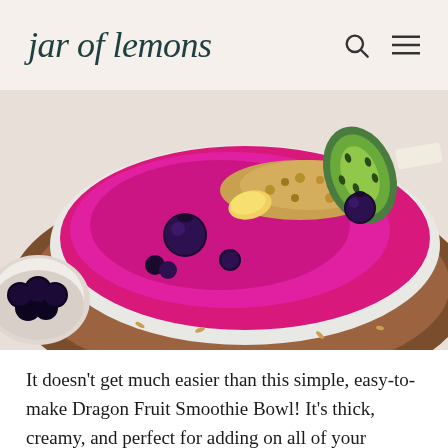jar of lemons
[Figure (photo): Close-up overhead photo of a dragon fruit smoothie bowl with vibrant pink/magenta base, topped with granola, blueberries, kiwi slices, and banana pieces, served in a white bowl on a wooden board. A small bowl of blueberries is visible in the lower left corner.]
It doesn't get much easier than this simple, easy-to-make Dragon Fruit Smoothie Bowl! It's thick, creamy, and perfect for adding on all of your favorite toppings. And it can be made in 5 minutes or less with only 3 ingredients! I love